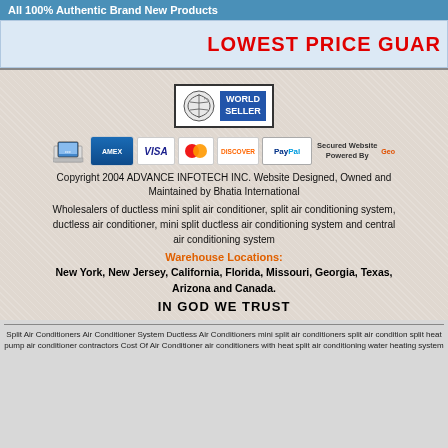All 100% Authentic Brand New Products
LOWEST PRICE GUAR
[Figure (logo): World Seller badge logo with circular arrow icon and blue WORLD SELLER text]
[Figure (infographic): Payment method icons: monitor/computer icon, American Express, Visa, MasterCard, Discover, PayPal, Secured Website Powered By GeoTrust]
Copyright 2004 ADVANCE INFOTECH INC. Website Designed, Owned and Maintained by Bhatia International
Wholesalers of ductless mini split air conditioner, split air conditioning system, ductless air conditioner, mini split ductless air conditioning system and central air conditioning system
Warehouse Locations:
New York, New Jersey, California, Florida, Missouri, Georgia, Texas, Arizona and Canada.
IN GOD WE TRUST
Split Air Conditioners Air Conditioner System Ductless Air Conditioners mini split air conditioners split air condition split heat pump air conditioner contractors Cost Of Air Conditioner air conditioners with heat split air conditioning water heating system